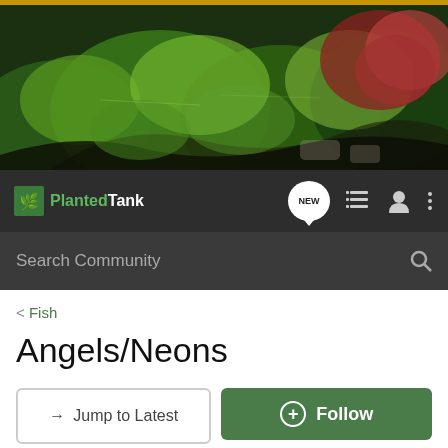[Figure (photo): Lush planted aquarium banner with green aquatic plants, driftwood, and red foliage]
Planted Tank — navigation bar with NEW chat bubble, list icon, user icon, and menu icon
Search Community
< Fish
Angels/Neons
→ Jump to Latest
+ Follow
1 - 5 of 5 Posts
fishscale · Registered
Joined May 29, 2007 · 3,895 Posts